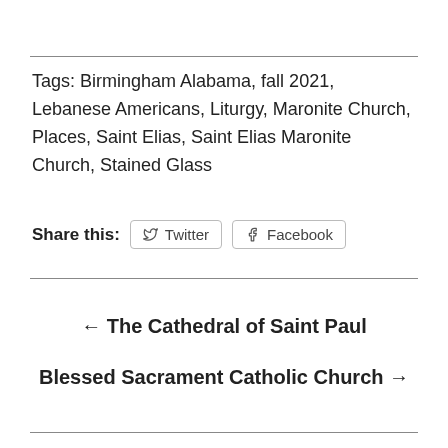Tags: Birmingham Alabama, fall 2021, Lebanese Americans, Liturgy, Maronite Church, Places, Saint Elias, Saint Elias Maronite Church, Stained Glass
Share this: Twitter Facebook
← The Cathedral of Saint Paul
Blessed Sacrament Catholic Church →